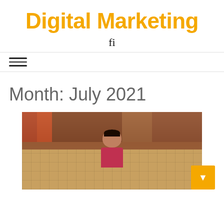Digital Marketing
fi
Month: July 2021
[Figure (photo): A young child sitting on a tiled floor in front of a red/brown doorway, wearing a pink/red striped shirt, looking at the camera with a serious expression.]